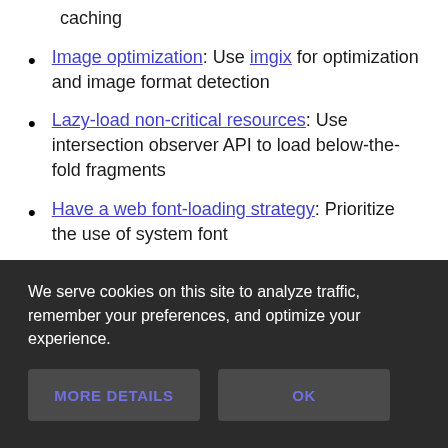caching
Image optimization: Use imgix for optimization and image format detection
Lazy-load non-critical resources: Use intersection observer API to load below-the-fold fragments
Have a web font-loading strategy: Prioritize the use of system font
We serve cookies on this site to analyze traffic, remember your preferences, and optimize your experience.
MORE DETAILS
OK